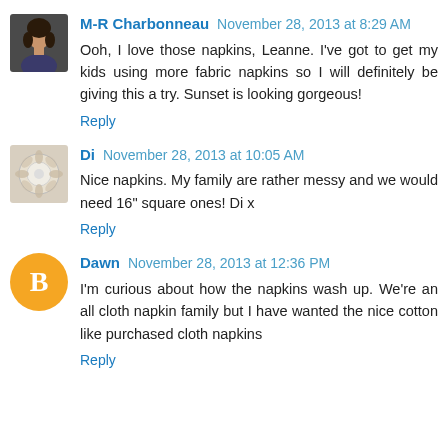[Figure (photo): Avatar photo of M-R Charbonneau, a woman with dark hair]
M-R Charbonneau November 28, 2013 at 8:29 AM
Ooh, I love those napkins, Leanne. I've got to get my kids using more fabric napkins so I will definitely be giving this a try. Sunset is looking gorgeous!
Reply
[Figure (photo): Avatar image of Di, showing a floral or decorative image]
Di November 28, 2013 at 10:05 AM
Nice napkins. My family are rather messy and we would need 16" square ones! Di x
Reply
[Figure (logo): Blogger 'B' logo avatar in orange circle for commenter Dawn]
Dawn November 28, 2013 at 12:36 PM
I'm curious about how the napkins wash up. We're an all cloth napkin family but I have wanted the nice cotton like purchased cloth napkins
Reply